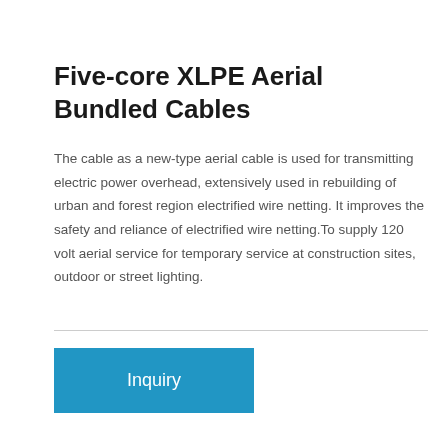Five-core XLPE Aerial Bundled Cables
The cable as a new-type aerial cable is used for transmitting electric power overhead, extensively used in rebuilding of urban and forest region electrified wire netting. It improves the safety and reliance of electrified wire netting.To supply 120 volt aerial service for temporary service at construction sites, outdoor or street lighting.
Inquiry